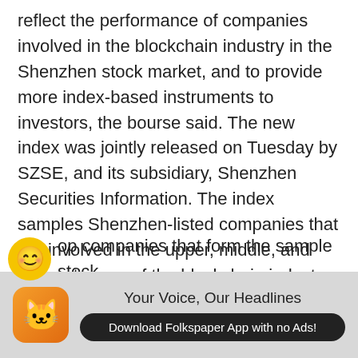reflect the performance of companies involved in the blockchain industry in the Shenzhen stock market, and to provide more index-based instruments to investors, the bourse said. The new index was jointly released on Tuesday by SZSE, and its subsidiary, Shenzhen Securities Information. The index samples Shenzhen-listed companies that are involved in the upper, middle, and lower streams of the blockchain industry, including hardware equipment, technology and services, and other applications.
top companies that form the sample stock
[Figure (other): Advertisement banner for Folkspaper app with cat icon, headline 'Your Voice, Our Headlines', and download button 'Download Folkspaper App with no Ads!']